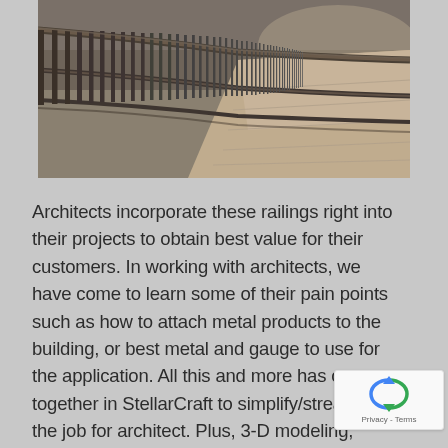[Figure (photo): A perspective photo of metal railings/fence running along a corridor or walkway, with light-colored tile flooring visible to the right. The railings are dark metal vertical bars. The photo is taken at an angle showing the railing receding into the background.]
Architects incorporate these railings right into their projects to obtain best value for their customers. In working with architects, we have come to learn some of their pain points such as how to attach metal products to the building, or best metal and gauge to use for the application. All this and more has come together in StellarCraft to simplify/streamline the job for architect. Plus, 3-D modeling, detailing and sho